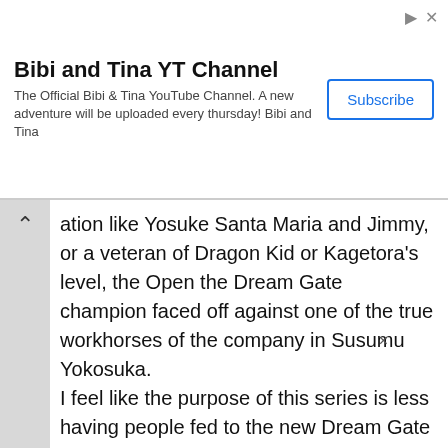[Figure (screenshot): Ad banner for Bibi and Tina YT Channel with Subscribe button and close/arrow icons]
...ation like Yosuke Santa Maria and Jimmy, or a veteran of Dragon Kid or Kagetora's level, the Open the Dream Gate champion faced off against one of the true workhorses of the company in Susumu Yokosuka.

I feel like the purpose of this series is less having people fed to the new Dream Gate champion, and more getting people used to who Shun Skywalker is now. He has picked up some solid looking holds in his